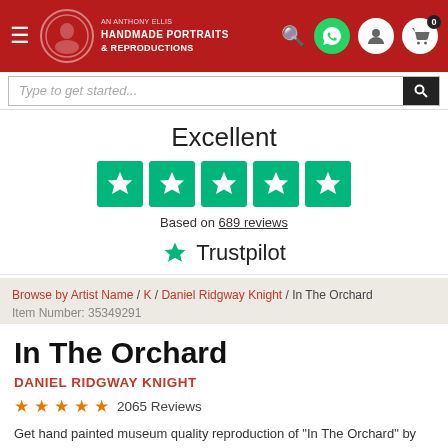[Figure (screenshot): Website header with red background, hamburger menu, logo for Handmade Portraits & Reproductions, search icon, WhatsApp icon, user icon, cart icon with 0 badge]
[Figure (screenshot): Search bar with italic placeholder text and dark search button]
Excellent
[Figure (infographic): Five green Trustpilot star rating boxes]
Based on 689 reviews
[Figure (logo): Trustpilot logo with green star]
Browse by Artist Name / K / Daniel Ridgway Knight / In The Orchard
Item Number: 35349291
In The Orchard
DANIEL RIDGWAY KNIGHT
2065 Reviews
Get hand painted museum quality reproduction of "In The Orchard" by Daniel Ridgway Knight. The Reproduction will be